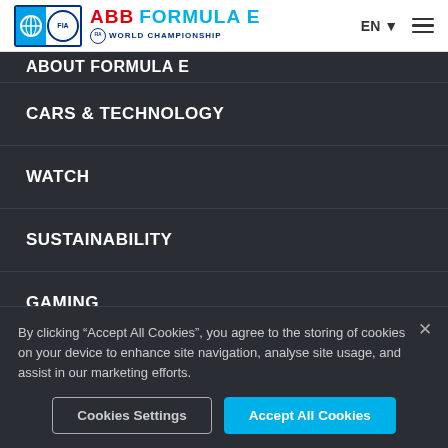[Figure (logo): ABB Formula E FIA World Championship logo with FIA badge on the left and red/blue text branding]
ABOUT FORMULA E
CARS & TECHNOLOGY
WATCH
SUSTAINABILITY
GAMING
THE OFFSET
By clicking “Accept All Cookies”, you agree to the storing of cookies on your device to enhance site navigation, analyse site usage, and assist in our marketing efforts.
Cookies Settings
Accept All Cookies